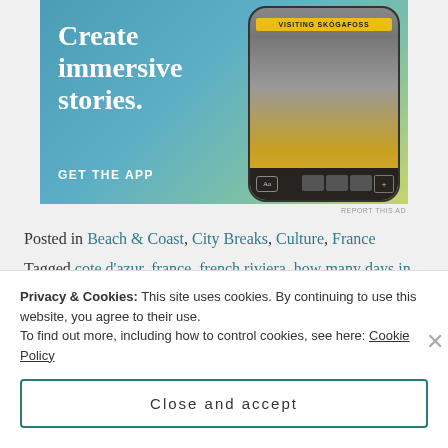[Figure (screenshot): App advertisement banner with blue-green gradient background showing 'Create immersive stories.' text and a phone mockup displaying 'VISITING SKÓGAFOSS' with a person in a yellow jacket under a waterfall. Includes 'GET THE APP' call to action.]
REPORT THIS AD
Posted in Beach & Coast, City Breaks, Culture, France
Tagged cote d'azur, france, french riviera, how many days in nice,
Privacy & Cookies: This site uses cookies. By continuing to use this website, you agree to their use.
To find out more, including how to control cookies, see here: Cookie Policy
Close and accept